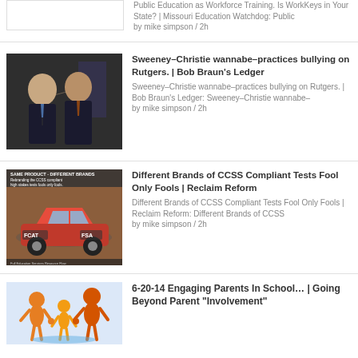Public Education as Workforce Training. Is WorkKeys in Your State? | Missouri Education Watchdog: Public
by mike simpson / 2h
[Figure (photo): Two men in suits leaning toward each other whispering, with American flag in background]
Sweeney–Christie wannabe–practices bullying on Rutgers. | Bob Braun's Ledger
Sweeney–Christie wannabe–practices bullying on Rutgers. | Bob Braun's Ledger: Sweeney–Christie wannabe–
by mike simpson / 2h
[Figure (photo): Graphic showing orange sports car labeled FCAT and FSA with text: SAME PRODUCT - DIFFERENT BRANDS. Rebranding the CCSS compliant high stakes tests fools only fools.]
Different Brands of CCSS Compliant Tests Fool Only Fools | Reclaim Reform
Different Brands of CCSS Compliant Tests Fool Only Fools | Reclaim Reform: Different Brands of CCSS
by mike simpson / 2h
[Figure (illustration): Orange cartoon figures of adults helping a child, group scene]
6-20-14 Engaging Parents In School… | Going Beyond Parent "Involvement"